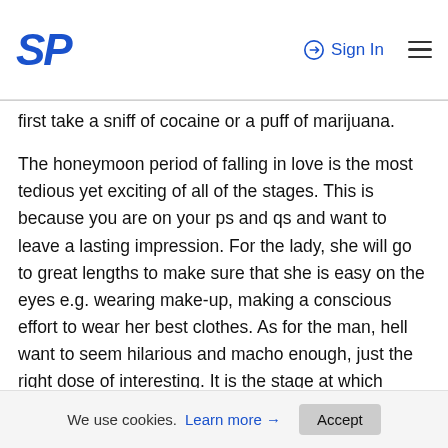SP | Sign In
first take a sniff of cocaine or a puff of marijuana.
The honeymoon period of falling in love is the most tedious yet exciting of all of the stages. This is because you are on your ps and qs and want to leave a lasting impression. For the lady, she will go to great lengths to make sure that she is easy on the eyes e.g. wearing make-up, making a conscious effort to wear her best clothes. As for the man, hell want to seem hilarious and macho enough, just the right dose of interesting. It is the stage at which people give their best and all. You are in a constant phase of euphoria and just like K-Ci and Jojos song, youve have been praying for someone like that to walk into your life. Life is at its best and you see it through rose coloured glasses. So you spend more time together, peeling away the layers of mystery. It is the stage at which you seek to
We use cookies. Learn more → Accept